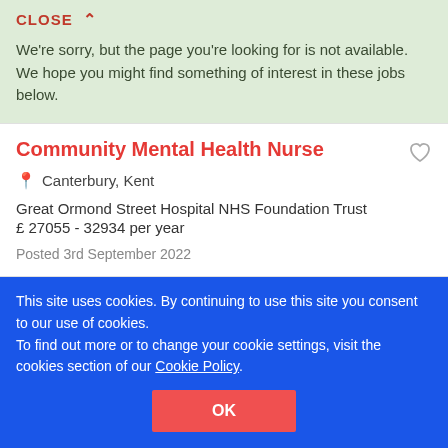CLOSE ∧
We're sorry, but the page you're looking for is not available. We hope you might find something of interest in these jobs below.
Community Mental Health Nurse
Canterbury, Kent
Great Ormond Street Hospital NHS Foundation Trust
£ 27055 - 32934 per year
Posted 3rd September 2022
Community Psychiatric Nurse
Canterbury, Kent
This site uses cookies. By continuing to use this site you consent to our use of cookies.
To find out more or to change your cookie settings, visit the cookies section of our Cookie Policy.
OK